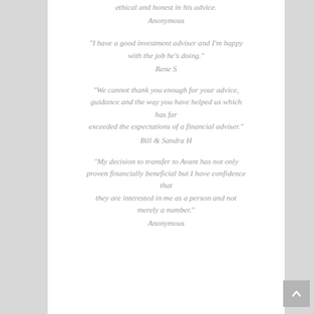ethical and honest in his advice.
Anonymous
“I have a good investment adviser and I’m happy with the job he’s doing.”
Rene S
“We cannot thank you enough for your advice, guidance and the way you have helped us which has far exceeded the expectations of a financial adviser.”
Bill & Sandra H
“My decision to transfer to Avant has not only proven financially beneficial but I have confidence that they are interested in me as a person and not merely a number.”
Anonymous